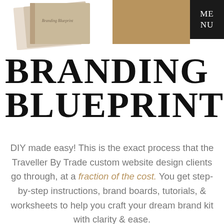[Figure (illustration): Top decorative area with a book cover mockup on the left (tan/beige tones with text 'Branding Blueprint') and a solid tan/gold rectangular block on the right side]
[Figure (other): Black MENU button in the top-right corner with text 'ME NU']
BRANDING BLUEPRINT
DIY made easy! This is the exact process that the Traveller By Trade custom website design clients go through, at a fraction of the cost. You get step-by-step instructions, brand boards, tutorials, & worksheets to help you craft your dream brand kit with clarity & ease.